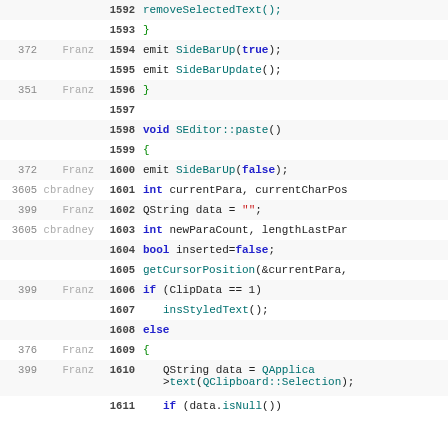| num1 | name | linenum | code |
| --- | --- | --- | --- |
|  |  | 1592 | removeSelectedText(); |
|  |  | 1593 | } |
| 372 | Franz | 1594 | emit SideBarUp(true); |
|  |  | 1595 | emit SideBarUpdate(); |
| 351 | Franz | 1596 | } |
|  |  | 1597 |  |
|  |  | 1598 | void SEditor::paste() |
|  |  | 1599 | { |
| 372 | Franz | 1600 | emit SideBarUp(false); |
| 3605 | cbradney | 1601 | int currentPara, currentCharPos |
| 399 | Franz | 1602 | QString data = ""; |
| 3605 | cbradney | 1603 | int newParaCount, lengthLastPar |
|  |  | 1604 | bool inserted=false; |
|  |  | 1605 | getCursorPosition(&currentPara, |
| 399 | Franz | 1606 | if (ClipData == 1) |
|  |  | 1607 | insStyledText(); |
|  |  | 1608 | else |
| 376 | Franz | 1609 | { |
| 399 | Franz | 1610 | QString data = QApplication->text(QClipboard::Selection); |
|  |  | 1611 | if (data.isNull()) |